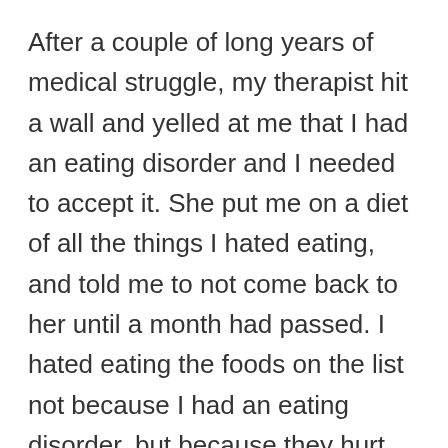After a couple of long years of medical struggle, my therapist hit a wall and yelled at me that I had an eating disorder and I needed to accept it. She put me on a diet of all the things I hated eating, and told me to not come back to her until a month had passed. I hated eating the foods on the list not because I had an eating disorder, but because they hurt me.
The list included things like acidic foods,